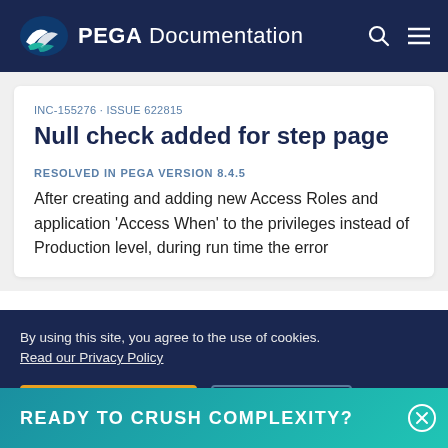PEGA Documentation
INC-155276 · ISSUE 622815
Null check added for step page
RESOLVED IN PEGA VERSION 8.4.5
After creating and adding new Access Roles and application 'Access When' to the privileges instead of Production level, during run time the error
READY TO CRUSH COMPLEXITY?
By using this site, you agree to the use of cookies. Read our Privacy Policy
Accept and continue
About cookies